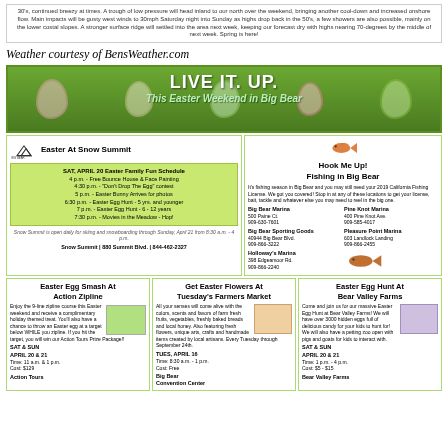30's, continued breezy at times. A trough of low pressure will head inland to our north over the weekend, bringing another cool-down and increased onshore flow. Main impacts will be gusty west winds to 30mph Saturday night into Sunday as highs drop back in the 50's, a few showers are also possible, mainly on the lower costal slopes. A stronger surface ridge will settled into the area next week, keeping our forecast dry with highs nearing 70-degrees by the middle of next week. Spring is here!
Weather courtesy of BensWeather.com
[Figure (illustration): Easter banner with colorful decorated eggs and text LIVE IT. UP. This Easter Weekend in Big Bear on green background]
[Figure (infographic): Easter At Snow Summit advertisement with Big Bear logo, schedule of events on April 20, and Snow Summit contact info]
[Figure (infographic): Hook Me Up! Fishing in Big Bear advertisement with fish graphic and marina locations]
[Figure (infographic): Easter Egg Smash At Action Zipline advertisement]
[Figure (infographic): Get Easter Flowers At Tuesday's Farmers Market advertisement]
[Figure (infographic): Easter Egg Hunt At Bear Valley Farms advertisement]